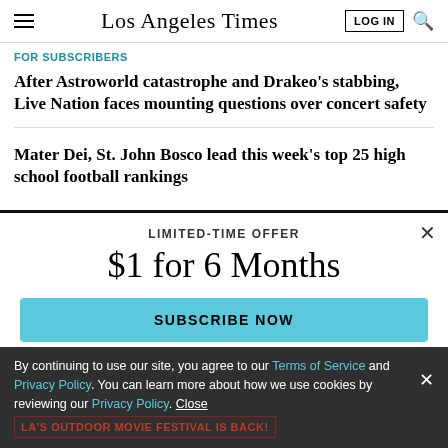Los Angeles Times
FOR SUBSCRIBERS
After Astroworld catastrophe and Drakeo's stabbing, Live Nation faces mounting questions over concert safety
Mater Dei, St. John Bosco lead this week's top 25 high school football rankings
LIMITED-TIME OFFER
$1 for 6 Months
SUBSCRIBE NOW
By continuing to use our site, you agree to our Terms of Service and Privacy Policy. You can learn more about how we use cookies by reviewing our Privacy Policy. Close
LA'S OUTDOOR MOVIE FESTIVAL IS BACK!